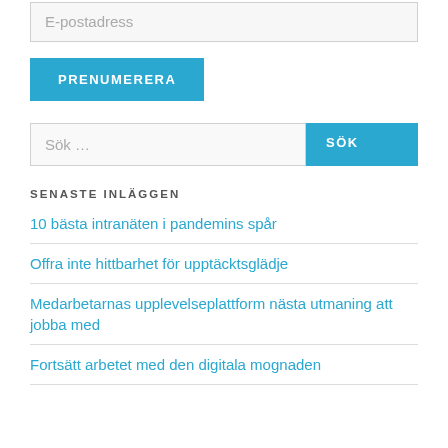E-postadress
PRENUMERERA
Sök ...
SÖK
SENASTE INLÄGGEN
10 bästa intranäten i pandemins spår
Offra inte hittbarhet för upptäcktsglädje
Medarbetarnas upplevelseplattform nästa utmaning att jobba med
Fortsätt arbetet med den digitala mognaden